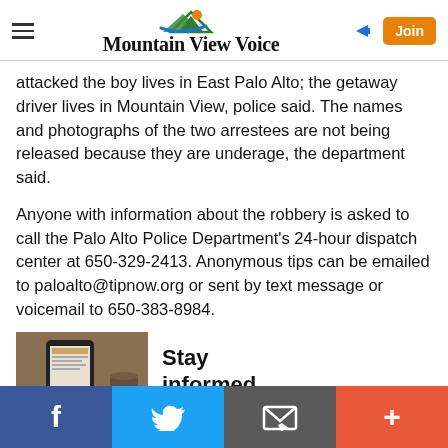Mountain View Voice
attacked the boy lives in East Palo Alto; the getaway driver lives in Mountain View, police said. The names and photographs of the two arrestees are not being released because they are underage, the department said.
Anyone with information about the robbery is asked to call the Palo Alto Police Department's 24-hour dispatch center at 650-329-2413. Anonymous tips can be emailed to paloalto@tipnow.org or sent by text message or voicemail to 650-383-8984.
[Figure (photo): Hand holding a smartphone displaying a news app]
Stay informed
Social sharing bar: Facebook, Twitter, Email, Plus